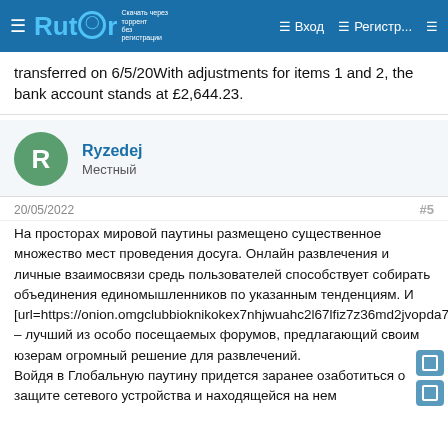Rutor | Вход | Регистр...
transferred on 6/5/20With adjustments for items 1 and 2, the bank account stands at £2,644.23.
Ryzedej
Местный
20/05/2022   #5
На просторах мировой паутины размещено существенное множество мест проведения досуга. Онлайн развлечения и личные взаимосвязи средь пользователей способствует собирать объединения единомышленников по указанным тенденциям. И [url=https://onion.omgclubbioknikokex7nhjwuahc2l67lfiz7z36md2jvopda7nchid.com]омг onion[/url] – лучший из особо посещаемых форумов, предлагающий своим юзерам огромный решение для развлечений.
Войдя в Глобальную паутину придется заранее озаботиться о защите сетевого устройства и находящейся на нем